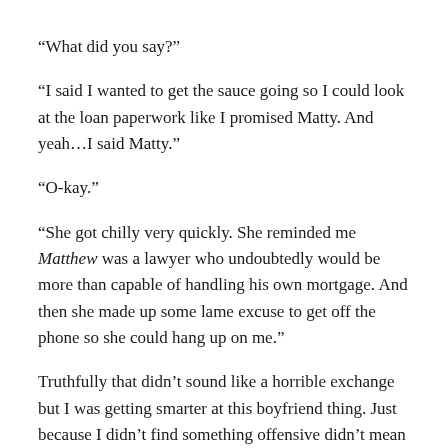“What did you say?”
“I said I wanted to get the sauce going so I could look at the loan paperwork like I promised Matty. And yeah…I said Matty.”
“O-kay.”
“She got chilly very quickly. She reminded me Matthew was a lawyer who undoubtedly would be more than capable of handling his own mortgage. And then she made up some lame excuse to get off the phone so she could hang up on me.”
Truthfully that didn’t sound like a horrible exchange but I was getting smarter at this boyfriend thing. Just because I didn’t find something offensive didn’t mean Aaron felt the same.